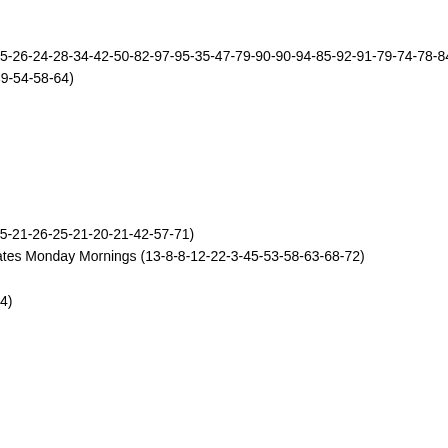61 ** Peah The Girl - Long Way Back
62 67 06 DaBaby ft Roddy Ricch - Rockstar (94-88-67-62)
63 59 44 Sam Fender - Will We Talk? (MK Remix) (3-7-16-23-23-25-26-24-28-34-42-50-82-97-95-35-47-79-90-90-94-85-92-91-79-74-78-84-78-80-59-57-51-59-59-63)
64 58 10 Gorillaz ft Peter Hook & Georgia - Aries (32-11-9-18-32-49-54-58-64)
65 54 06 Kim Petras - Malibu (15-15-27-44-54-65)
66 ** Blancmange - Clean Your House
67 71 02 Deborah Harry - I Want That Man (71-67)
68 60 09 Kygo ft Zak Abel - Freedom (24-23-18-16-52-60-68)
69 ** Sigma ft John Newman - High On You
70 72 03 Belinda Carlisle - Leave A Light On (86-72-
71 57 10 Purple Disco Machine ft Sophie & The Gia Hypnotized (25-21-26-25-21-20-21-42-57-71)
72 68 13 Benny Benassi, BB Team & Canguro Engli Everybody Hates Monday Mornings (13-8-8-12-22-3-45-53-58-63-68-72)
73 63 07 Dagny - Somebody (10-12-25-46-57-63-73-
74 65 06 Ariana Grande & Justin Bieber - Stuck Wit 30-47-58-65-74)